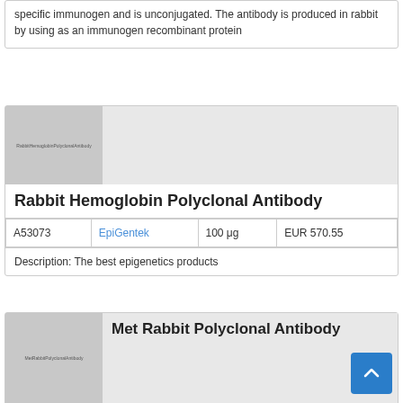specific immunogen and is unconjugated. The antibody is produced in rabbit by using as an immunogen recombinant protein
[Figure (photo): Product image placeholder for Rabbit Hemoglobin Polyclonal Antibody]
Rabbit Hemoglobin Polyclonal Antibody
|  |  |  |  |
| --- | --- | --- | --- |
| A53073 | EpiGentek | 100 μg | EUR 570.55 |
Description: The best epigenetics products
[Figure (photo): Product image placeholder for Met Rabbit Polyclonal Antibody]
Met Rabbit Polyclonal Antibody